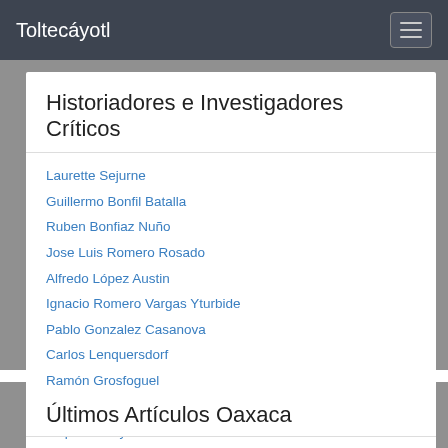Toltecáyotl
Historiadores e Investigadores Críticos
Laurette Sejurne
Guillermo Bonfil Batalla
Ruben Bonfiaz Nuño
Jose Luis Romero Rosado
Alfredo López Austin
Ignacio Romero Vargas Yturbide
Pablo Gonzalez Casanova
Carlos Lenquersdorf
Ramón Grosfoguel
Enrique Dussel
Jaques Lafaye
Jacobo Grinberg
Últimos Artículos Oaxaca